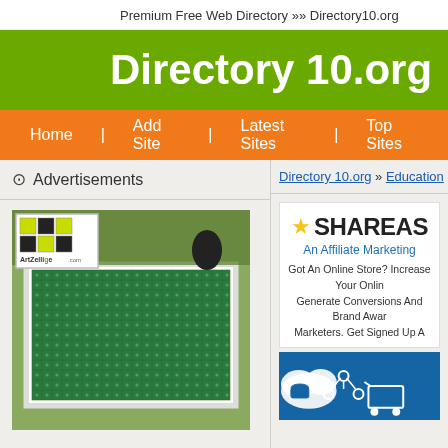Premium Free Web Directory »» Directory10.org
Directory 10.org
Home | Add Site | Latest Sites | Top Sites
Advertisements
[Figure (photo): ArtZellige mosaic tile pool photo with logo overlay]
Directory 10.org » Education » Special Ed...
[Figure (screenshot): ShareASale affiliate marketing advertisement with star logo, title, subtitle 'An Affiliate Marketing', and body text about increasing online store conversions]
[Figure (illustration): Blue background ad with icons representing e-commerce/affiliate concepts]